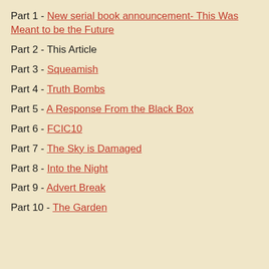Part 1 - New serial book announcement- This Was Meant to be the Future
Part 2 - This Article
Part 3 - Squeamish
Part 4 - Truth Bombs
Part 5 - A Response From the Black Box
Part 6 - FCIC10
Part 7 - The Sky is Damaged
Part 8 - Into the Night
Part 9 - Advert Break
Part 10 - The Garden